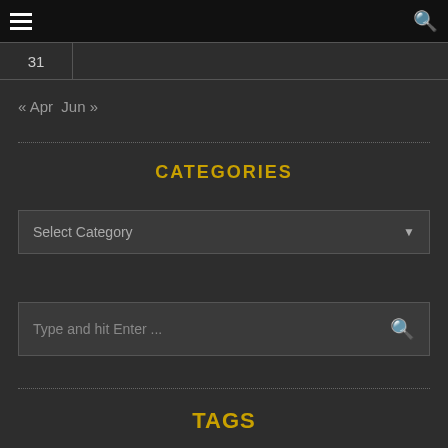Navigation bar with hamburger menu and search icon
| 31 |  |
| --- | --- |
« Apr  Jun »
CATEGORIES
Select Category
Type and hit Enter ...